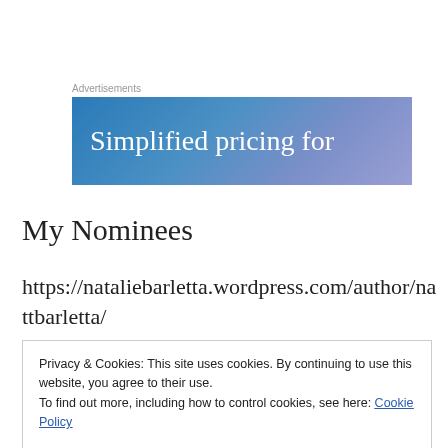Advertisements
[Figure (illustration): Blue gradient advertisement banner with white text reading 'Simplified pricing for']
My Nominees
https://nataliebarletta.wordpress.com/author/nattbarletta/
Privacy & Cookies: This site uses cookies. By continuing to use this website, you agree to their use.
To find out more, including how to control cookies, see here: Cookie Policy
Close and accept